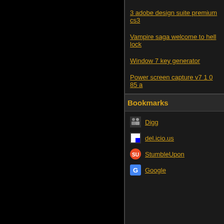3 adobe design suite premium cs3
Vampire saga welcome to hell lock
Window 7 key generator
Power screen capture v7 1 0 85 a
Bookmarks
Digg
del.icio.us
StumbleUpon
Google